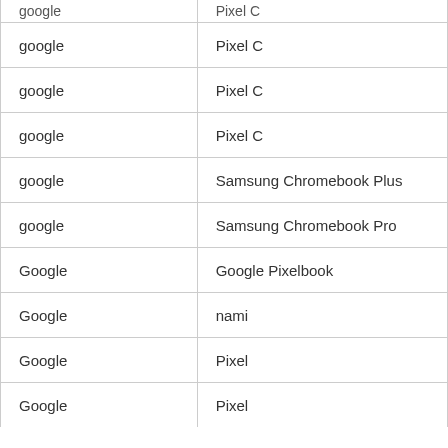| google | Pixel C |
| google | Pixel C |
| google | Pixel C |
| google | Pixel C |
| google | Samsung Chromebook Plus |
| google | Samsung Chromebook Pro |
| Google | Google Pixelbook |
| Google | nami |
| Google | Pixel |
| Google | Pixel |